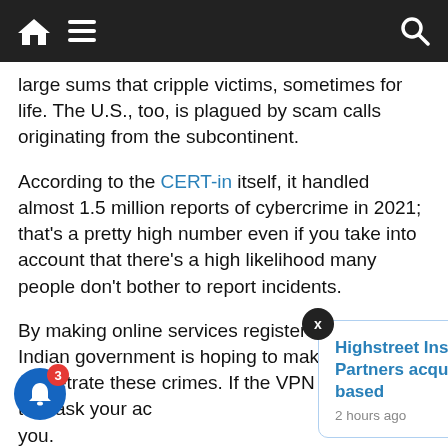Navigation bar with home, menu, and search icons
large sums that cripple victims, sometimes for life. The U.S., too, is plagued by scam calls originating from the subcontinent.
According to the CERT-in itself, it handled almost 1.5 million reports of cybercrime in 2021; that's a pretty high number even if you take into account that there's a high likelihood many people don't bother to report incidents.
By making online services register users, the Indian government is hoping to make it harder to perpetrate these crimes. If the VPN you're using to mask your ac tch you. VPNs to hide their activity, but also political activists and journalists.
[Figure (screenshot): Popup notification card: 'Highstreet Insurance Partners acquires Michigan-based' with timestamp '2 hours ago', close button X, and blue bell notification button with badge showing 3]